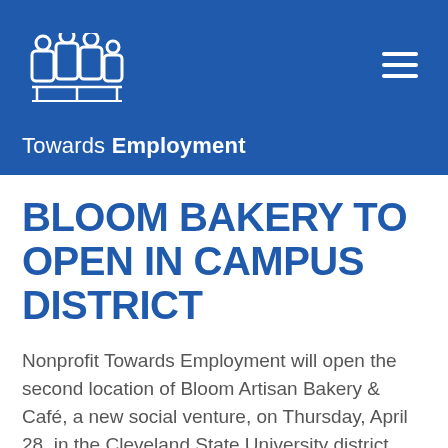Towards Employment
BLOOM BAKERY TO OPEN IN CAMPUS DISTRICT
Nonprofit Towards Employment will open the second location of Bloom Artisan Bakery & Café, a new social venture, on Thursday, April 28, in the Cleveland State University district. The bakery will be located at 1938 Euclid Ave, next